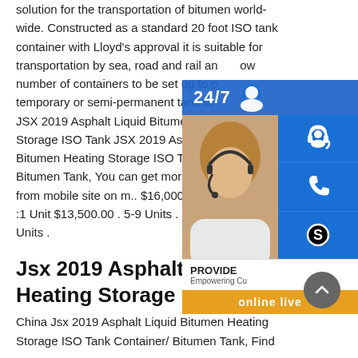solution for the transportation of bitumen worldwide. Constructed as a standard 20 foot ISO tank container with Lloyd's approval it is suitable for transportation by sea, road and rail and allows a number of containers to be set up to provide temporary or semi-permanent tank farms. JSX 2019 Asphalt Liquid Bitumen Heating Storage ISO Tank JSX 2019 Asphalt Liquid Bitumen Heating Storage ISO Tank Container/ Bitumen Tank, You can get more details from mobile site on m.. $16,000.00 . Min.Order :1 Unit $13,500.00 . 5-9 Units . $11,000.00 . 10 Units .
[Figure (infographic): Overlay widget showing 24/7 support banner, customer service photo, headset/phone/Skype icons, PROVIDE Empowering Customer bar, and online live button]
Jsx 2019 Asphalt Liquid Bitumen Heating Storage ISO Tank
China Jsx 2019 Asphalt Liquid Bitumen Heating Storage ISO Tank Container/ Bitumen Tank, Find